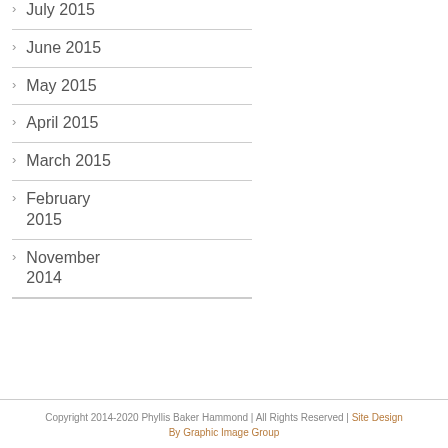July 2015
June 2015
May 2015
April 2015
March 2015
February 2015
November 2014
Copyright 2014-2020 Phyllis Baker Hammond | All Rights Reserved | Site Design By Graphic Image Group